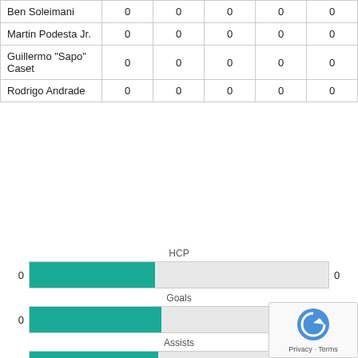|  |  |  |  |  |  |
| --- | --- | --- | --- | --- | --- |
| Ben Soleimani | 0 | 0 | 0 | 0 | 0 |
| Martin Podesta Jr. | 0 | 0 | 0 | 0 | 0 |
| Guillermo "Sapo" Caset | 0 | 0 | 0 | 0 | 0 |
| Rodrigo Andrade | 0 | 0 | 0 | 0 | 0 |
[Figure (bar-chart): HCP]
[Figure (bar-chart): Goals]
[Figure (bar-chart): Assists]